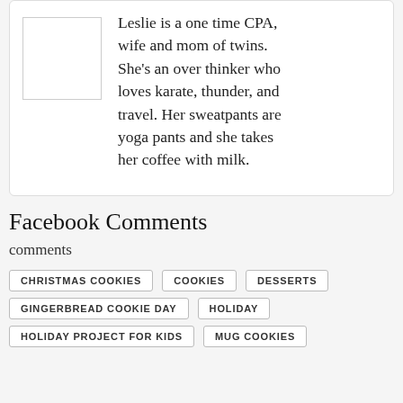Leslie is a one time CPA, wife and mom of twins. She's an over thinker who loves karate, thunder, and travel. Her sweatpants are yoga pants and she takes her coffee with milk.
Facebook Comments
comments
CHRISTMAS COOKIES
COOKIES
DESSERTS
GINGERBREAD COOKIE DAY
HOLIDAY
HOLIDAY PROJECT FOR KIDS
MUG COOKIES